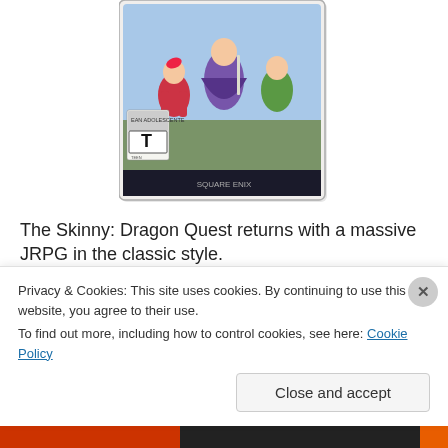[Figure (photo): Dragon Quest XI S game box art showing anime-style characters in colorful RPG artwork with ESRB Teen rating label, square Enix branding]
The Skinny: Dragon Quest returns with a massive JRPG in the classic style.
While technically the PS4 version of this game came out in the U.S. last year, Dragon Quest XI S: Echoes of an Elusive Age is probably one of my top games of 2019. I gave the original a pass because I just don't have that
Privacy & Cookies: This site uses cookies. By continuing to use this website, you agree to their use.
To find out more, including how to control cookies, see here: Cookie Policy
Close and accept